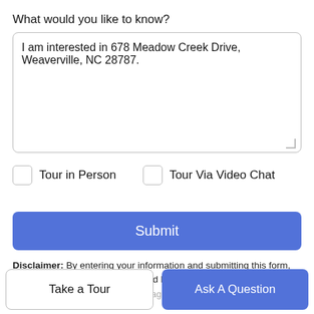What would you like to know?
I am interested in 678 Meadow Creek Drive, Weaverville, NC 28787.
Tour in Person
Tour Via Video Chat
Submit
Disclaimer: By entering your information and submitting this form, you agree to our Terms of Use and Privacy Policy and that you may be contacted by phone, text message and email about your inquiry.
Take a Tour
Ask A Question